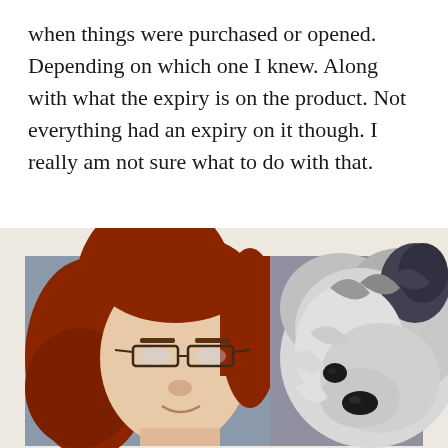when things were purchased or opened. Depending on which one I knew. Along with what the expiry is on the product. Not everything had an expiry on it though. I really am not sure what to do with that.
[Figure (photo): A woman with long red hair and glasses posing next to a large fluffy grey and white dog (appears to be an Old English Sheepdog), photographed indoors in a selfie-style image.]